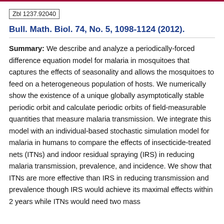Zbl 1237.92040
Bull. Math. Biol. 74, No. 5, 1098-1124 (2012).
Summary: We describe and analyze a periodically-forced difference equation model for malaria in mosquitoes that captures the effects of seasonality and allows the mosquitoes to feed on a heterogeneous population of hosts. We numerically show the existence of a unique globally asymptotically stable periodic orbit and calculate periodic orbits of field-measurable quantities that measure malaria transmission. We integrate this model with an individual-based stochastic simulation model for malaria in humans to compare the effects of insecticide-treated nets (ITNs) and indoor residual spraying (IRS) in reducing malaria transmission, prevalence, and incidence. We show that ITNs are more effective than IRS in reducing transmission and prevalence though IRS would achieve its maximal effects within 2 years while ITNs would need two mass